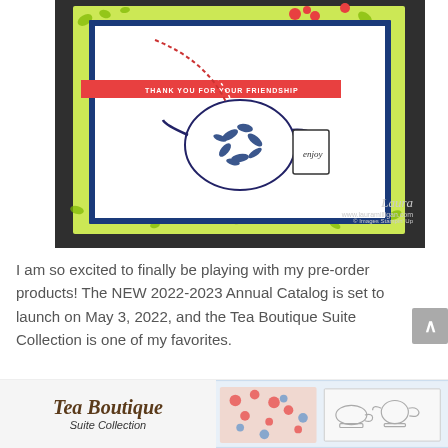[Figure (photo): A handmade greeting card featuring a navy blue illustrated teapot with leaf designs, red and white twine, a small 'enjoy' tag, floral patterned background in lime green, and a red banner reading 'THANK YOU FOR YOUR FRIENDSHIP'. Watermark reads 'Laura www.lauramilligan.com © Images Stampin Up'. Card is photographed on a dark grey couch.]
I am so excited to finally be playing with my pre-order products!  The NEW 2022-2023 Annual Catalog is set to launch on May 3, 2022, and the Tea Boutique Suite Collection is one of my favorites.
[Figure (photo): Tea Boutique Suite Collection logo and product image showing decorative paper and stamp set with teacup/teapot motifs]